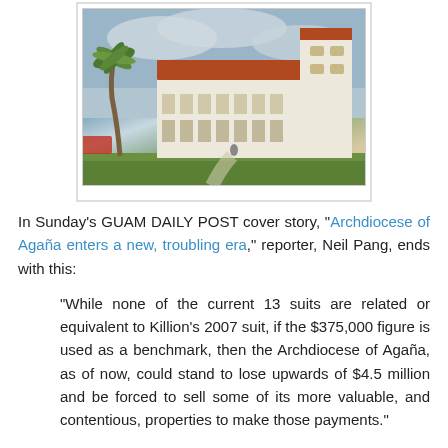[Figure (photo): Photograph of a white Spanish-colonial style building with red tile roof and arched colonnades, palm trees in foreground, cloudy sky background]
In Sunday's GUAM DAILY POST cover story, "Archdiocese of Agaña enters a new, troubling era," reporter, Neil Pang, ends with this:
"While none of the current 13 suits are related or equivalent to Killion's 2007 suit, if the $375,000 figure is used as a benchmark, then the Archdiocese of Agaña, as of now, could stand to lose upwards of $4.5 million and be forced to sell some of its more valuable, and contentious, properties to make those payments."
Read the last part again: